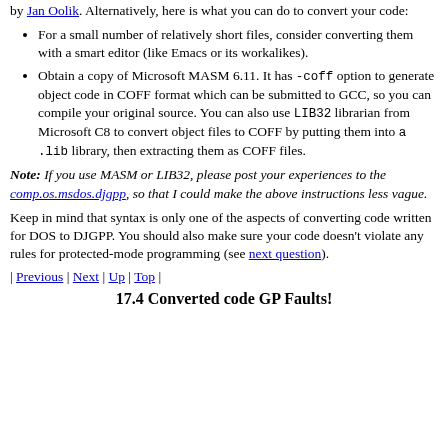by Jan Oolik. Alternatively, here is what you can do to convert your code:
For a small number of relatively short files, consider converting them with a smart editor (like Emacs or its workalikes).
Obtain a copy of Microsoft MASM 6.11. It has -coff option to generate object code in COFF format which can be submitted to GCC, so you can compile your original source. You can also use LIB32 librarian from Microsoft C8 to convert object files to COFF by putting them into a .lib library, then extracting them as COFF files.
Note: If you use MASM or LIB32, please post your experiences to the comp.os.msdos.djgpp, so that I could make the above instructions less vague.
Keep in mind that syntax is only one of the aspects of converting code written for DOS to DJGPP. You should also make sure your code doesn't violate any rules for protected-mode programming (see next question).
| Previous | Next | Up | Top |
17.4 Converted code GP Faults!